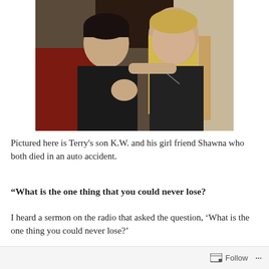[Figure (photo): Photo of two young people posing together: a young man with dark hair wearing a black sleeveless shirt on the left, and a young woman with long blonde hair wearing a black top on the right. They appear to be in a restaurant or bar setting with red seating visible in the background.]
Pictured here is Terry's son K.W. and his girl friend Shawna who both died in an auto accident.
“What is the one thing that you could never lose?
I heard a sermon on the radio that asked the question, ‘What is the one thing you could never lose?’
Follow ...